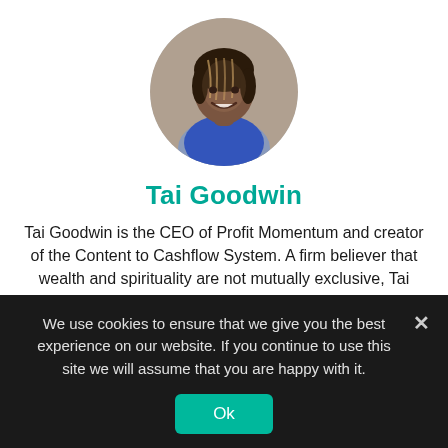[Figure (photo): Circular profile photo of Tai Goodwin, a woman with braided hair, smiling, wearing a blue top]
Tai Goodwin
Tai Goodwin is the CEO of Profit Momentum and creator of the Content to Cashflow System. A firm believer that wealth and spirituality are not mutually exclusive, Tai teaches women how to grow their business without burning out or selling out. Her specialty, helping them create, market, and sell online courses and digital products. The author of Girlfriend, It's Your Time and co-author
We use cookies to ensure that we give you the best experience on our website. If you continue to use this site we will assume that you are happy with it.